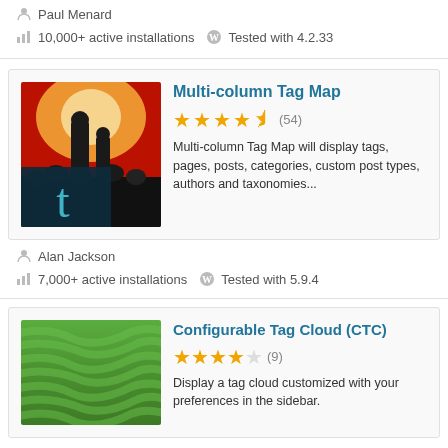Paul Menard
10,000+ active installations   Tested with 4.2.33
Multi-column Tag Map
★★★★½ (54)
Multi-column Tag Map will display tags, pages, posts, categories, custom post types, authors and taxonomies...
Alan Jackson
7,000+ active installations   Tested with 5.9.4
Configurable Tag Cloud (CTC)
★★★★☆ (9)
Display a tag cloud customized with your preferences in the sidebar.